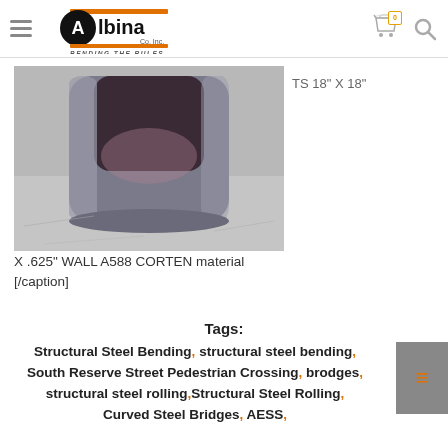Albina Co, Inc. — BENDING THE RULES
[Figure (photo): Close-up photo of a bent square steel tube (TS 18 x 18) with A588 Corten material, showing the hollow interior and metallic surface on a concrete floor.]
TS 18" X 18" X .625" WALL A588 CORTEN material [/caption]
Tags:
Structural Steel Bending, structural steel bending, South Reserve Street Pedestrian Crossing, brodges, structural steel rolling, Structural Steel Rolling, Curved Steel Bridges, AESS,